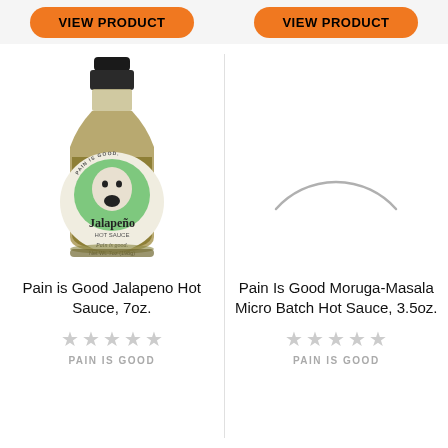[Figure (other): Orange 'VIEW PRODUCT' button (left)]
[Figure (other): Orange 'VIEW PRODUCT' button (right)]
[Figure (photo): Pain is Good Jalapeno Hot Sauce bottle, 7oz (198g), with green label featuring screaming face logo]
[Figure (other): Partial arc/circle indicating missing or loading product image for Pain Is Good Moruga-Masala Micro Batch Hot Sauce]
Pain is Good Jalapeno Hot Sauce, 7oz.
Pain Is Good Moruga-Masala Micro Batch Hot Sauce, 3.5oz.
PAIN IS GOOD
PAIN IS GOOD